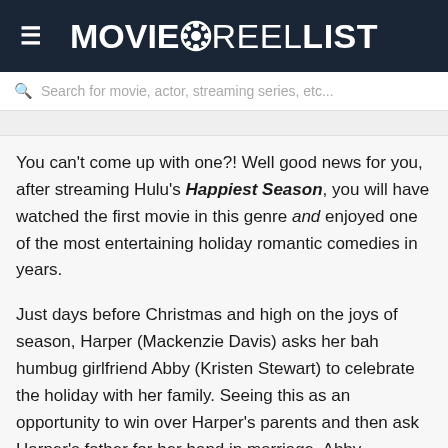MOVIEREELIST
Search for movie, actor, streaming series, etc...
You can't come up with one?! Well good news for you, after streaming Hulu's Happiest Season, you will have watched the first movie in this genre and enjoyed one of the most entertaining holiday romantic comedies in years.
Just days before Christmas and high on the joys of season, Harper (Mackenzie Davis) asks her bah humbug girlfriend Abby (Kristen Stewart) to celebrate the holiday with her family. Seeing this as an opportunity to win over Harper's parents and then ask Harper's father for her hand in marriage, Abby reluctantly agrees but quickly comes to regret that decision. Not only has Harper not come out to her parents, but Abby is going to have to go back into the closet during their visit and play the role of Harper's straight orphaned roommate.